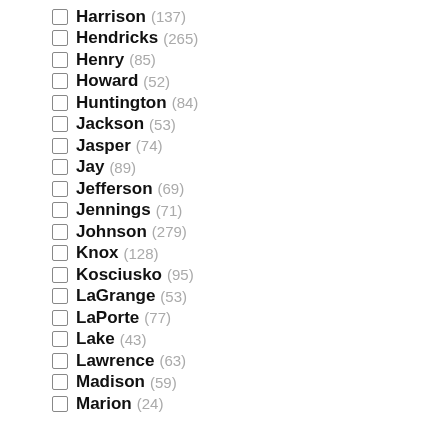Harrison (137)
Hendricks (265)
Henry (85)
Howard (52)
Huntington (84)
Jackson (53)
Jasper (74)
Jay (89)
Jefferson (69)
Jennings (71)
Johnson (279)
Knox (128)
Kosciusko (95)
LaGrange (53)
LaPorte (77)
Lake (43)
Lawrence (63)
Madison (59)
Marion (24)